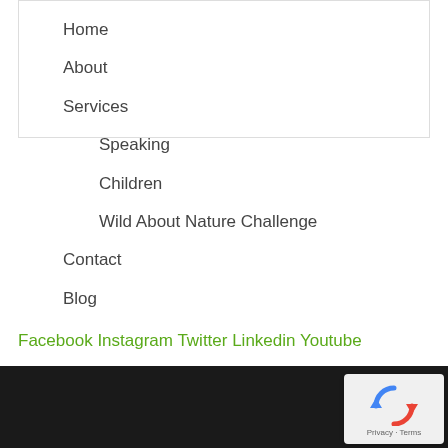Home
About
Services
Speaking
Children
Wild About Nature Challenge
Contact
Blog
Facebook Instagram Twitter Linkedin Youtube
[Figure (other): reCAPTCHA badge with Privacy and Terms links]